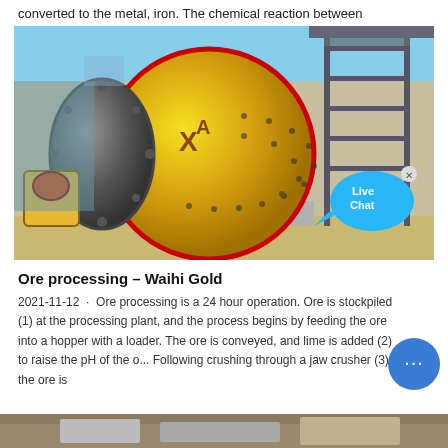converted to the metal, iron. The chemical reaction between
[Figure (photo): Industrial ball mill machine (yellow cylindrical grinding machine) with red accents, mounted on a concrete base at a mining/processing facility. Metal scaffolding and industrial structures visible in the background. A 'Live Chat' bubble overlay appears in the lower right of the image.]
Ore processing – Waihi Gold
2021-11-12 · Ore processing is a 24 hour operation. Ore is stockpiled (1) at the processing plant, and the process begins by feeding the ore into a hopper with a loader. The ore is conveyed, and lime is added (2) to raise the pH of the o... Following crushing through a jaw crusher (3), the ore is
[Figure (photo): Bottom strip showing partial image of additional mining/processing equipment or scenery.]